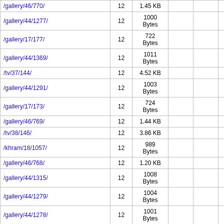| /gallery/46/770/ | 12 | 1.45 KB |  |  |  |
| /gallery/44/1277/ | 12 | 1000 Bytes |  |  |  |
| /gallery/17/177/ | 12 | 722 Bytes |  |  |  |
| /gallery/44/1369/ | 12 | 1011 Bytes |  |  |  |
| /tv/37/144/ | 12 | 4.52 KB |  |  |  |
| /gallery/44/1291/ | 12 | 1003 Bytes |  |  |  |
| /gallery/17/173/ | 12 | 724 Bytes |  |  |  |
| /gallery/46/769/ | 12 | 1.44 KB |  |  |  |
| /tv/38/146/ | 12 | 3.86 KB |  |  |  |
| /khram/18/1057/ | 12 | 989 Bytes |  |  |  |
| /gallery/46/768/ | 12 | 1.20 KB |  |  |  |
| /gallery/44/1315/ | 12 | 1008 Bytes |  |  |  |
| /gallery/44/1279/ | 12 | 1004 Bytes |  |  |  |
| /gallery/44/1278/ | 12 | 1001 Bytes |  |  |  |
| /articles/426/ | 12 | 12.74 KB | 6 | 6 |  |
| /khram/18/417/ | 12 | 1.96 KB |  |  |  |
| /gallery/44/1313/ | 12 | 1016 Bytes |  |  |  |
| /gallery/44/530/ | 12 | 991 Bytes |  | 1 |  |